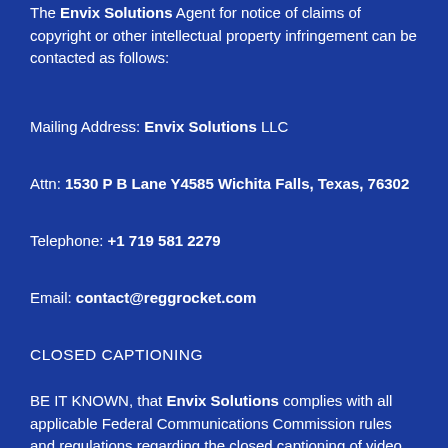The Envix Solutions Agent for notice of claims of copyright or other intellectual property infringement can be contacted as follows:
Mailing Address: Envix Solutions LLC
Attn: 1530 P B Lane Y4585 Wichita Falls, Texas, 76302
Telephone: +1 719 581 2279
Email: contact@reggrocket.com
CLOSED CAPTIONING
BE IT KNOWN, that Envix Solutions complies with all applicable Federal Communications Commission rules and regulations regarding the closed captioning of video content. For more information, please visit our website at